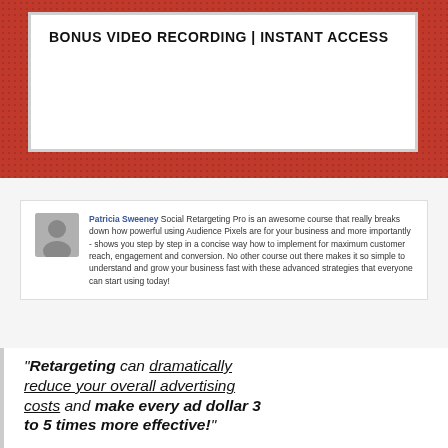[Figure (other): Red textured banner with white inner box containing bold header text: BONUS VIDEO RECORDING | INSTANT ACCESS]
BONUS VIDEO RECORDING | INSTANT ACCESS
Patricia Sweeney Social Retargeting Pro is an awesome course that really breaks down how powerful using Audience Pixels are for your business and more importantly - shows you step by step in a concise way how to implement for maximum customer reach, engagement and conversion. No other course out there makes it so simple to understand and grow your business fast with these advanced strategies that everyone can start using today!
"Retargeting can dramatically reduce your overall advertising costs and make every ad dollar 3 to 5 times more effective!"